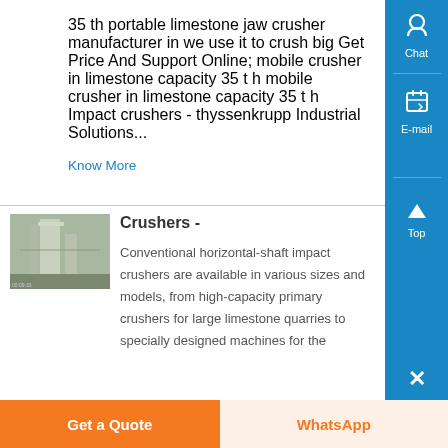35 th portable limestone jaw crusher manufacturer in we use it to crush big Get Price And Support Online; mobile crusher in limestone capacity 35 t h mobile crusher in limestone capacity 35 t h Impact crushers - thyssenkrupp Industrial Solutions...
Know More
Crushers -
[Figure (photo): Industrial crusher or silo tower structure, gray exterior]
Conventional horizontal-shaft impact crushers are available in various sizes and models, from high-capacity primary crushers for large limestone quarries to specially designed machines for the
Get a Quote
WhatsApp